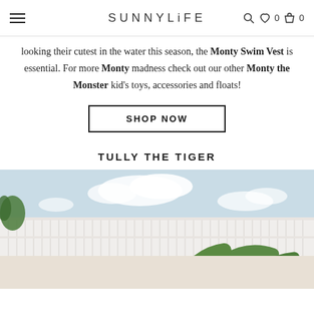SUNNYLiFE
looking their cutest in the water this season, the Monty Swim Vest is essential. For more Monty madness check out our other Monty the Monster kid's toys, accessories and floats!
SHOP NOW
TULLY THE TIGER
[Figure (photo): Outdoor photo showing white fence, blue sky with clouds, and tropical green foliage/plants in foreground with what appears to be a woven hat]